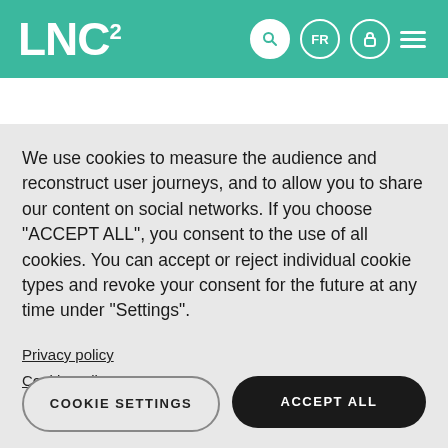LNC²
Bouchacourt, F., Palminteri, S., Koechlin, E. & Ostojic, S.
We use cookies to measure the audience and reconstruct user journeys, and to allow you to share our content on social networks. If you choose "ACCEPT ALL", you consent to the use of all cookies. You can accept or reject individual cookie types and revoke your consent for the future at any time under "Settings".
Privacy policy
Cookie Policy
COOKIE SETTINGS
ACCEPT ALL